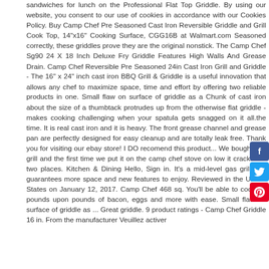sandwiches for lunch on the Professional Flat Top Griddle. By using our website, you consent to our use of cookies in accordance with our Cookies Policy. Buy Camp Chef Pre Seasoned Cast Iron Reversible Griddle and Grill Cook Top, 14"x16" Cooking Surface, CGG16B at Walmart.com Seasoned correctly, these griddles prove they are the original nonstick. The Camp Chef Sg90 24 X 18 Inch Deluxe Fry Griddle Features High Walls And Grease Drain. Camp Chef Reversible Pre Seasoned 24in Cast Iron Grill and Griddle - The 16" x 24" inch cast iron BBQ Grill & Griddle is a useful innovation that allows any chef to maximize space, time and effort by offering two reliable products in one. Small flaw on surface of griddle as a Chunk of cast iron about the size of a thumbtack protrudes up from the otherwise flat griddle - makes cooking challenging when your spatula gets snagged on it all.the time. It is real cast iron and it is heavy. The front grease channel and grease pan are perfectly designed for easy cleanup and are totally leak free. Thank you for visiting our ebay store! I DO recomend this product... We bought this grill and the first time we put it on the camp chef stove on low it cracked in two places. Kitchen & Dining Hello, Sign in. It's a mid-level gas grill that guarantees more space and new features to enjoy. Reviewed in the United States on January 12, 2017. Camp Chef 468 sq. You'll be able to cook up pounds upon pounds of bacon, eggs and more with ease. Small flaw on surface of griddle as ... Great griddle. 9 product ratings - Camp Chef Griddle 16 in. From the manufacturer Veuillez activer